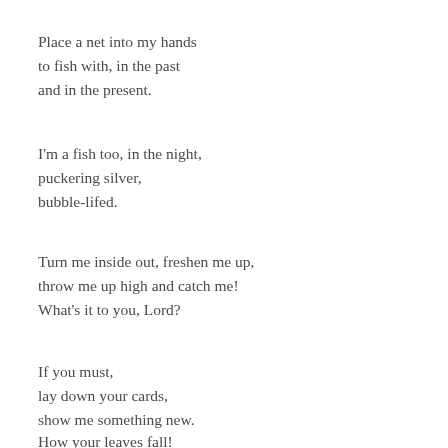Place a net into my hands
to fish with, in the past
and in the present.
I'm a fish too, in the night,
puckering silver,
bubble-lifed.
Turn me inside out, freshen me up,
throw me up high and catch me!
What's it to you, Lord?
If you must,
lay down your cards,
show me something new.
How your leaves fall!